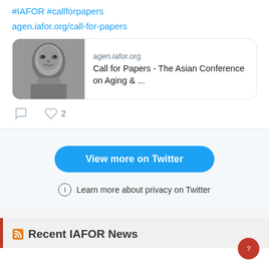#IAFOR #callforpapers
agen.iafor.org/call-for-papers
[Figure (screenshot): Tweet card with black and white portrait image on left, domain 'agen.iafor.org' and title 'Call for Papers - The Asian Conference on Aging & ...' on right]
View more on Twitter
Learn more about privacy on Twitter
Recent IAFOR News